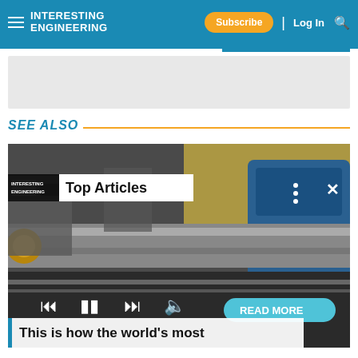INTERESTING ENGINEERING | Subscribe | Log In
SEE ALSO
[Figure (photo): Engineering lab photo showing large metallic shaft/cannon-like machinery with a blue industrial machine in the background. Overlay shows 'Top Articles' label, media playback controls, and a 'READ MORE' button.]
This is how the world's most